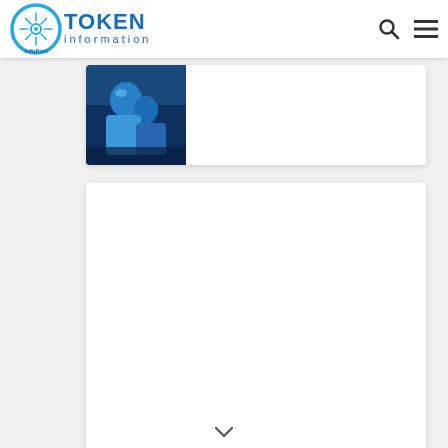InfoPort TOKEN information
[Figure (screenshot): Partial view of a card with a blue-themed image (appears to show a person or figure in blue)]
[Figure (other): White empty card/content area below the partial card]
[Figure (other): Chevron/arrow pointing downward at the bottom of the page]